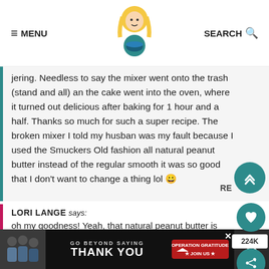≡ MENU   [logo]   SEARCH 🔍
jering. Needless to say the mixer went onto the trash (stand and all) an the cake went into the oven, where it turned out delicious after baking for 1 hour and a half. Thanks so much for such a super recipe. The broken mixer I told my husban was my fault because I used the Smuckers Old fashion all natural peanut butter instead of the regular smooth it was so good that I don't want to change a thing lol 😀
LORI LANGE says: oh my goodness! Yeah, that natural peanut butter is a little more dense than the creamy stuff. Wonder if that was the culprit!?
[Figure (infographic): Operation Gratitude ad banner: GO BEYOND SAYING THANK YOU with Join Us button]
224K